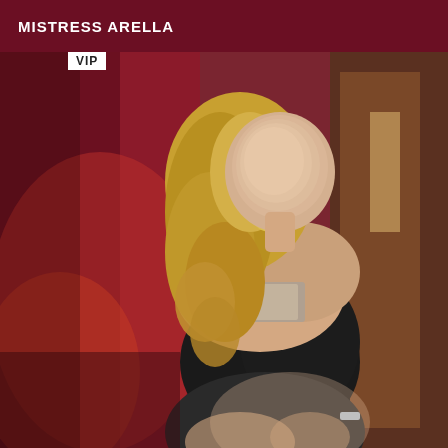MISTRESS ARELLA
[Figure (photo): A woman with long curly blonde hair, posed with her back partially turned, wearing a black bodysuit and patterned bralette top. Her face is blurred. Background shows a dark red/maroon room with a wooden door. A 'VIP' badge appears in the upper left of the photo.]